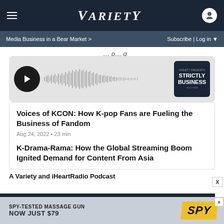Variety
Media Business in a Bear Market > Subscribe | Log in
[Figure (other): Podcast audio player with play button, waveform visualization, and Strictly Business podcast thumbnail]
Voices of KCON: How K-pop Fans are Fueling the Business of Fandom
Aug 24, 2022 • 23 min
K-Drama-Rama: How the Global Streaming Boom Ignited Demand for Content From Asia
A Variety and iHeartRadio Podcast
[Figure (other): Advertisement banner: SPY-TESTED MASSAGE GUN NOW JUST $79 with SPY logo on yellow background]